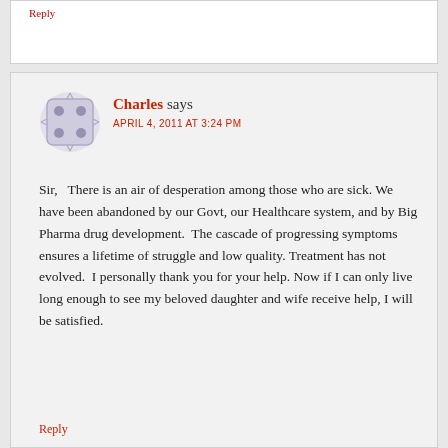Reply
Charles says
APRIL 4, 2011 AT 3:24 PM
Sir,   There is an air of desperation among those who are sick. We have been abandoned by our Govt, our Healthcare system, and by Big Pharma drug development.  The cascade of progressing symptoms ensures a lifetime of struggle and low quality. Treatment has not evolved.  I personally thank you for your help. Now if I can only live long enough to see my beloved daughter and wife receive help, I will be satisfied.
Reply